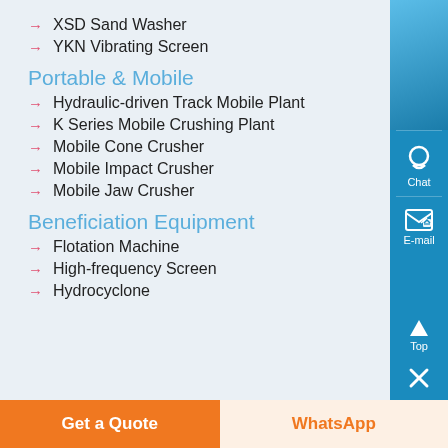XSD Sand Washer
YKN Vibrating Screen
Portable & Mobile
Hydraulic-driven Track Mobile Plant
K Series Mobile Crushing Plant
Mobile Cone Crusher
Mobile Impact Crusher
Mobile Jaw Crusher
Beneficiation Equipment
Flotation Machine
High-frequency Screen
Hydrocyclone
[Figure (screenshot): Blue sidebar with Chat, E-mail, Top, and close icons]
Get a Quote
WhatsApp